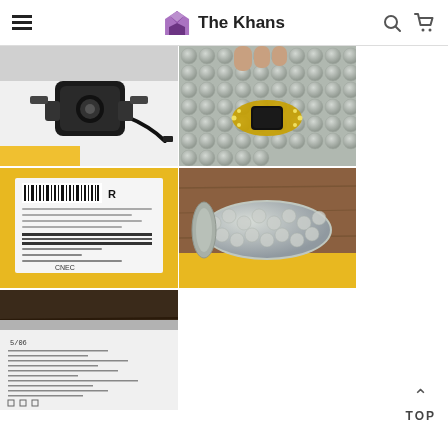The Khans
[Figure (photo): Close-up photo of a black magnetic wireless charger device with USB cable on a white surface]
[Figure (photo): A gold-toned bracelet watch with black face wrapped in bubble wrap, held by fingers]
[Figure (photo): Yellow courier/shipping bag with printed barcode label and shipment details visible]
[Figure (photo): A cylindrical item wrapped in bubble wrap sitting on a yellow bag on a wooden surface]
[Figure (photo): Partial view of a white box or paper with some text/label, on a dark wooden surface]
TOP